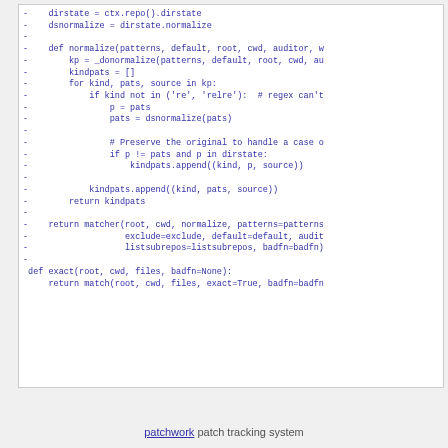[Figure (screenshot): Code diff snippet showing Python functions normalize and exact with removed lines (prefixed with '-') in a monospace font, colored indigo/blue-purple.]
patchwork patch tracking system